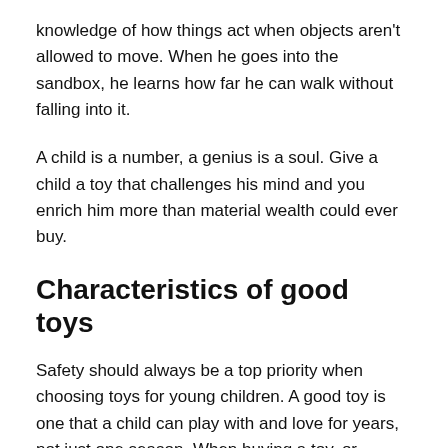knowledge of how things act when objects aren't allowed to move. When he goes into the sandbox, he learns how far he can walk without falling into it.
A child is a number, a genius is a soul. Give a child a toy that challenges his mind and you enrich him more than material wealth could ever buy.
Characteristics of good toys
Safety should always be a top priority when choosing toys for young children. A good toy is one that a child can play with and love for years, not just one season. When buying a toy, or selecting a gift, examine it carefully. Is it safe? Are there any sharp edges? Pinch points? When testing, don't allow the child to pull pieces off or chew on them.